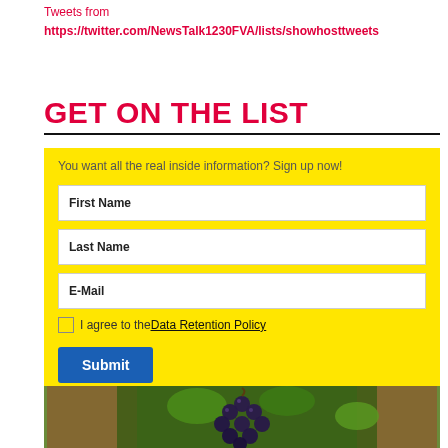Tweets from
https://twitter.com/NewsTalk1230FVA/lists/showhosttweets
GET ON THE LIST
You want all the real inside information? Sign up now!
First Name
Last Name
E-Mail
I agree to the Data Retention Policy
Submit
[Figure (photo): Cluster of dark blue grapes on a vine with green leaves and brown wicker basket elements]